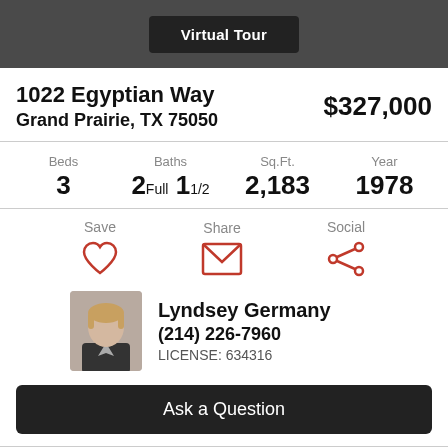Virtual Tour
1022 Egyptian Way
Grand Prairie, TX 75050
$327,000
Beds 3  Baths 2Full 1 1/2  Sq.Ft. 2,183  Year 1978
Save  Share  Social
Lyndsey Germany
(214) 226-7960
LICENSE: 634316
Ask a Question
Status: Sold